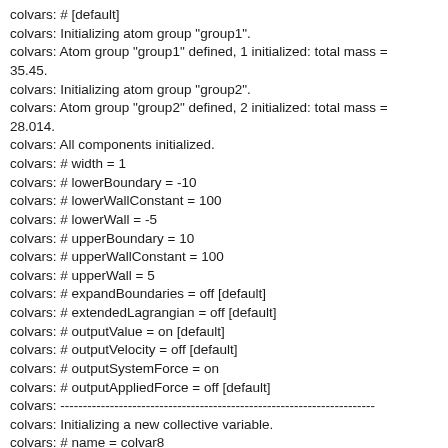colvars: # oneSiteSystemForce = off [default]
colvars: Initializing atom group "group1".
colvars: Atom group "group1" defined, 1 initialized: total mass = 35.45.
colvars: Initializing atom group "group2".
colvars: Atom group "group2" defined, 2 initialized: total mass = 28.014.
colvars: All components initialized.
colvars: # width = 1
colvars: # lowerBoundary = -10
colvars: # lowerWallConstant = 100
colvars: # lowerWall = -5
colvars: # upperBoundary = 10
colvars: # upperWallConstant = 100
colvars: # upperWall = 5
colvars: # expandBoundaries = off [default]
colvars: # extendedLagrangian = off [default]
colvars: # outputValue = on [default]
colvars: # outputVelocity = off [default]
colvars: # outputSystemForce = on
colvars: # outputAppliedForce = off [default]
colvars: ----------------------------------------------------------------------
colvars: Initializing a new collective variable.
colvars: # name = colvar8
colvars: Initializing a new "distance" component.
colvars: # componentCoeff = 1 [default]